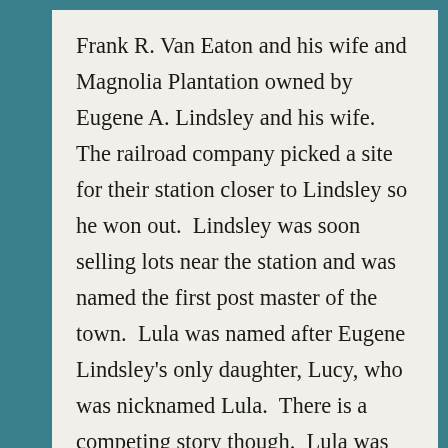Frank R. Van Eaton and his wife and Magnolia Plantation owned by Eugene A. Lindsley and his wife.  The railroad company picked a site for their station closer to Lindsley so he won out.  Lindsley was soon selling lots near the station and was named the first post master of the town.  Lula was named after Eugene Lindsley's only daughter, Lucy, who was nicknamed Lula.  There is a competing story though.  Lula was named after a child born to a worker in the village constructing the railroad.  Whichever story is true, Lula became the name of the new town.  The Lula